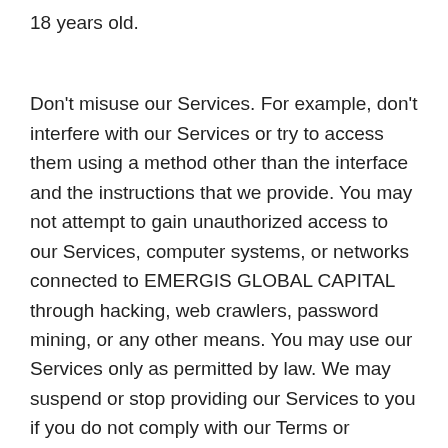18 years old.
Don't misuse our Services. For example, don't interfere with our Services or try to access them using a method other than the interface and the instructions that we provide. You may not attempt to gain unauthorized access to our Services, computer systems, or networks connected to EMERGIS GLOBAL CAPITAL through hacking, web crawlers, password mining, or any other means. You may use our Services only as permitted by law. We may suspend or stop providing our Services to you if you do not comply with our Terms or policies or if we are investigating suspected misconduct.
Using our Services does not give you ownership of any intellectual property rights in our Services or the content you access. You may not use content from our Services unless you obtain permission from its owner or are otherwise permitted by law. These Terms do not grant you the right to use any branding or logos used in our Services. Don't remove,